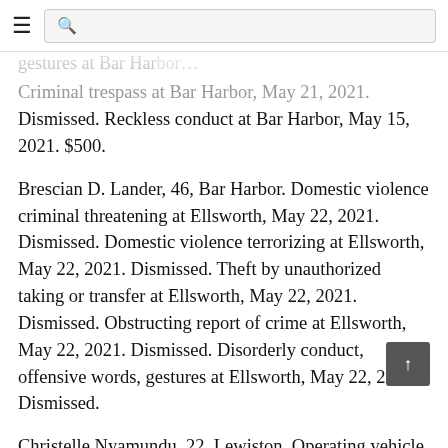gestures at Bar Harbor [hamburger menu] [search box]
Criminal trespass at Bar Harbor, May 21, 2021. Dismissed. Reckless conduct at Bar Harbor, May 15, 2021. $500.
Brescian D. Lander, 46, Bar Harbor. Domestic violence criminal threatening at Ellsworth, May 22, 2021. Dismissed. Domestic violence terrorizing at Ellsworth, May 22, 2021. Dismissed. Theft by unauthorized taking or transfer at Ellsworth, May 22, 2021. Dismissed. Obstructing report of crime at Ellsworth, May 22, 2021. Dismissed. Disorderly conduct, offensive words, gestures at Ellsworth, May 22, 2021. Dismissed.
Christelle Nyamundu, 22, Lewiston. Operating vehicle without license at Ellsworth, May 14, 2021. Dismissed.
James Robert Patten, 57, Franklin. Assault at Sullivan, June 20, 2021. Dismissed.